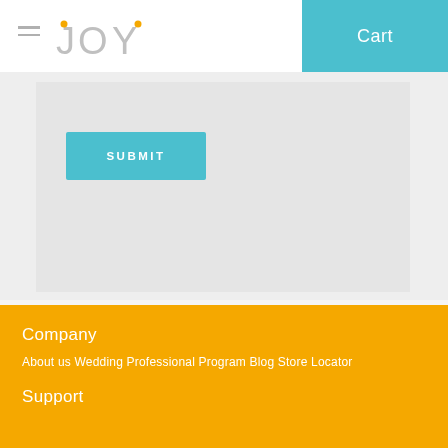JOY  Cart
[Figure (screenshot): Gray content area with a teal SUBMIT button]
SUBMIT
Company
About us Wedding Professional Program Blog Store Locator
Support